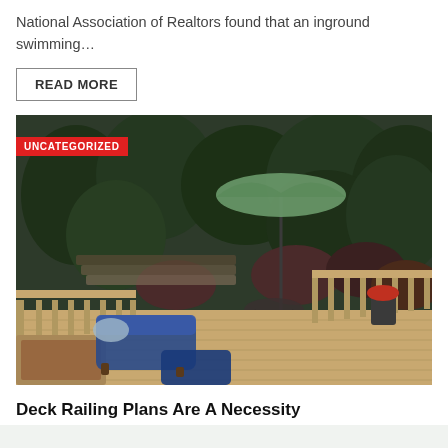National Association of Realtors found that an inground swimming…
READ MORE
[Figure (photo): Outdoor wooden deck with blue lounge chairs, railing, patio umbrella, and lush green garden shrubs in the background. Red 'UNCATEGORIZED' badge overlaid on top-left of image.]
Deck Railing Plans Are A Necessity